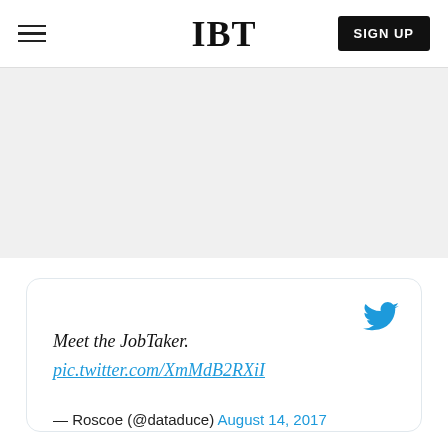IBT
[Figure (screenshot): Gray banner/advertisement area below the navigation bar]
Meet the JobTaker.
pic.twitter.com/XmMdB2RXiI

— Roscoe (@dataduce) August 14, 2017